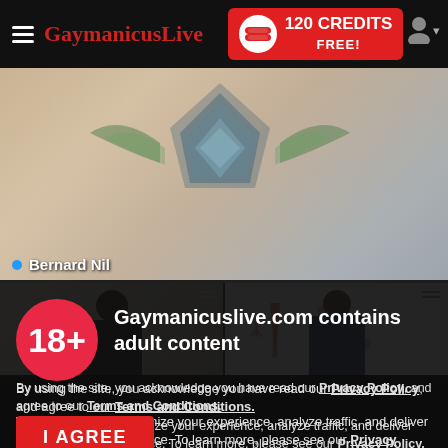GaymanicusLive — 120 CREDITS FREE!
[Figure (screenshot): Hero image showing tattooed torso/back area with decorative tattoos, blurred background. Bernard Nil label with blue live dot.]
[Figure (photo): Two thumbnail images of male performers in video chat rooms]
Gaymanicuslive.com contains adult content
By using the site, you acknowledge you have read our Privacy Policy, and agree to our Terms and Conditions.
We use cookies to optimize your experience, analyze traffic, and deliver more personalized service. To learn more, please see our Privacy Policy.
I AGREE